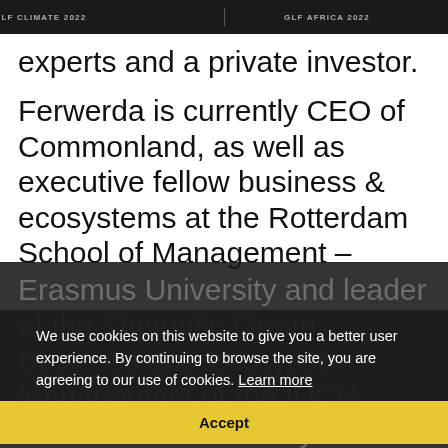GLF CLIMATE 2022 | GLF AFRICA 2022
experts and a private investor.
Ferwerda is currently CEO of Commonland, as well as executive fellow business & ecosystems at the Rotterdam School of Management – Erasmus University and leader of the Thematic Group Business and Ecosystem Management of the IUCN Commission on Ecosystem Management (CH). Further, he serves as board member and advisor of a number of international institutions.
We use cookies on this website to give you a better user experience. By continuing to browse the site, you are agreeing to our use of cookies. Learn more
Accept